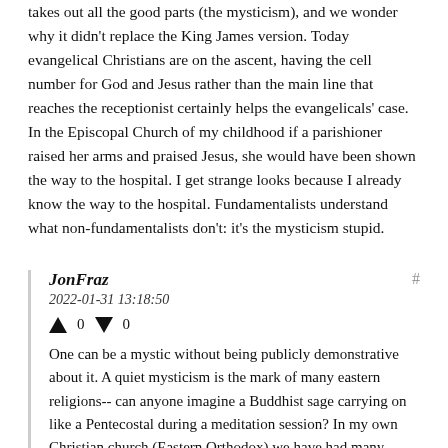takes out all the good parts (the mysticism), and we wonder why it didn't replace the King James version. Today evangelical Christians are on the ascent, having the cell number for God and Jesus rather than the main line that reaches the receptionist certainly helps the evangelicals' case. In the Episcopal Church of my childhood if a parishioner raised her arms and praised Jesus, she would have been shown the way to the hospital. I get strange looks because I already know the way to the hospital. Fundamentalists understand what non-fundamentalists don't: it's the mysticism stupid.
JonFraz
2022-01-31 13:18:50
↑ 0 ↓ 0
One can be a mystic without being publicly demonstrative about it. A quiet mysticism is the mark of many eastern religions-- can anyone imagine a Buddhist sage carrying on like a Pentecostal during a meditation session? In my own Christian church (Eastern Orthodox) we have had many mystic saints and none of them were shouting "Jesus!" in the middle